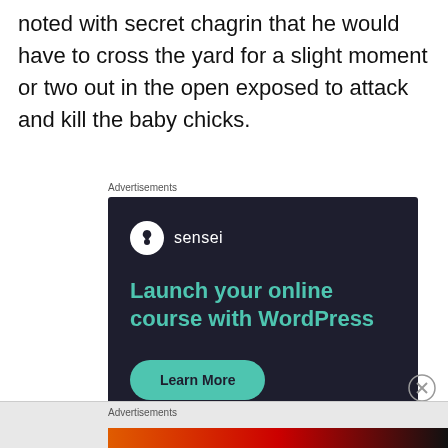noted with secret chagrin that he would have to cross the yard for a slight moment or two out in the open exposed to attack and kill the baby chicks.
Advertisements
[Figure (screenshot): Sensei advertisement banner on dark navy background: Sensei logo (white circle with tree icon) and 'sensei' text, teal headline 'Launch your online course with WordPress', teal 'Learn More' rounded button, WordPress logo and 'Powered by WordPress.com' at bottom.]
Advertisements